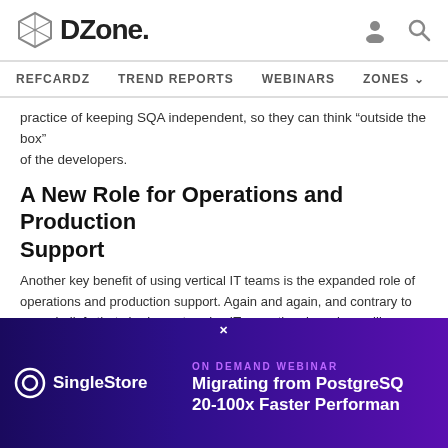DZone. [logo] [user icon] [search icon]
REFCARDZ  TREND REPORTS  WEBINARS  ZONES
practice of keeping SQA independent, so they can think “outside the box” of the developers.
A New Role for Operations and Production Support
Another key benefit of using vertical IT teams is the expanded role of operations and production support. Again and again, and contrary to many beliefs that sharing enterprise IT operational services will save costs, in the case of core business services we have seen in practice that dedicating technical operations and production support to specific core business services actually saves more money and increases the quality of the service at the same time. We have devised a whole new approach called Op[...] high[...]
De[...] be involved in the software development lifecycle from the start and raise the importance of the operational requirements to the level of business
[Figure (infographic): SingleStore ad banner: ON DEMAND WEBINAR - Migrating from PostgreSQL 20-100x Faster Performance]